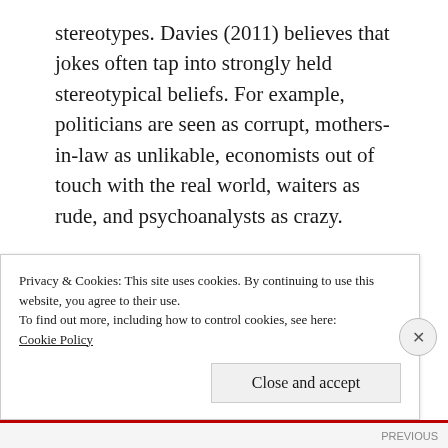stereotypes. Davies (2011) believes that jokes often tap into strongly held stereotypical beliefs. For example, politicians are seen as corrupt, mothers-in-law as unlikable, economists out of touch with the real world, waiters as rude, and psychoanalysts as crazy.
IN GROUPS / OUT GROUPS
Schutz (1995) feels that ethnic humor plays an important social function by helping in-groups
Privacy & Cookies: This site uses cookies. By continuing to use this website, you agree to their use.
To find out more, including how to control cookies, see here:
Cookie Policy
Close and accept